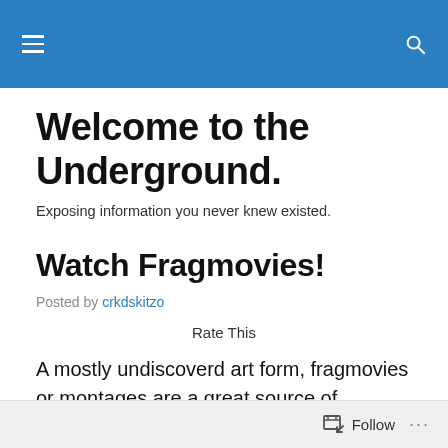Welcome to the Underground.
Exposing information you never knew existed.
Watch Fragmovies!
Posted by crkdskitzo
Rate This
A mostly undiscoverd art form, fragmovies or montages are a great source of entertainment. There is a huge
Follow ...